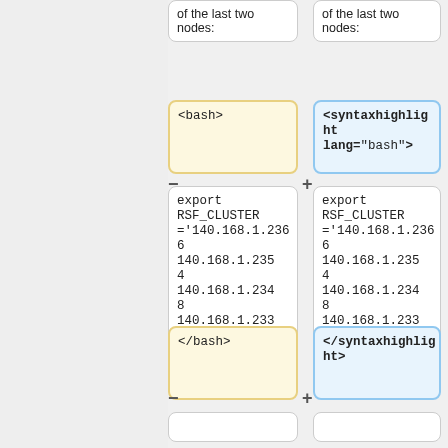of the last two nodes:
of the last two nodes:
<bash>
<syntaxhighlight lang="bash">
export RSF_CLUSTER='140.168.1.2366 140.168.1.2354 140.168.1.2348 140.168.1.23388'
export RSF_CLUSTER='140.168.1.2366 140.168.1.2354 140.168.1.2348 140.168.1.23388'
</bash>
</syntaxhighlight>
The <tt>RSF_THREADS</tt> variable holds the sum of the numbers of
The <tt>RSF_THREADS</tt> variable holds the sum of the numbers of